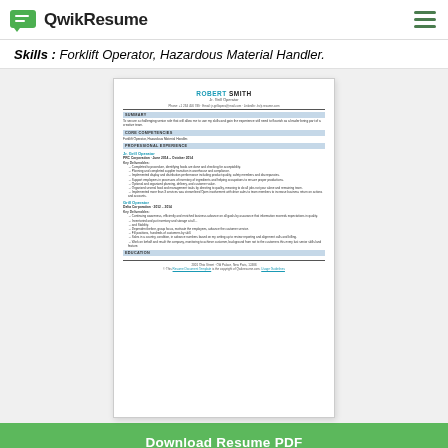QwikResume
Skills : Forklift Operator, Hazardous Material Handler.
[Figure (screenshot): Resume preview thumbnail for Robert Smith, Jr. Grill Operator, showing summary, core competencies, professional experience, and education sections.]
Download Resume PDF